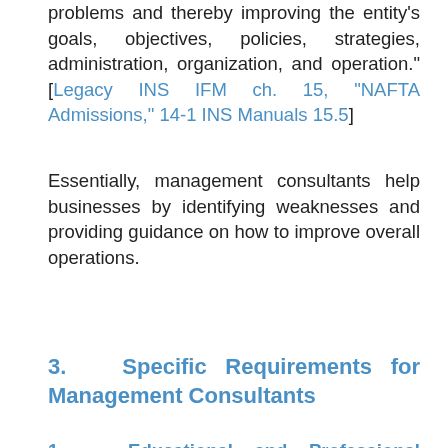problems and thereby improving the entity's goals, objectives, policies, strategies, administration, organization, and operation." [Legacy INS IFM ch. 15, "NAFTA Admissions," 14-1 INS Manuals 15.5]
Essentially, management consultants help businesses by identifying weaknesses and providing guidance on how to improve overall operations.
3.   Specific Requirements for Management Consultants
1.   Educational and Professional Experience Requirement